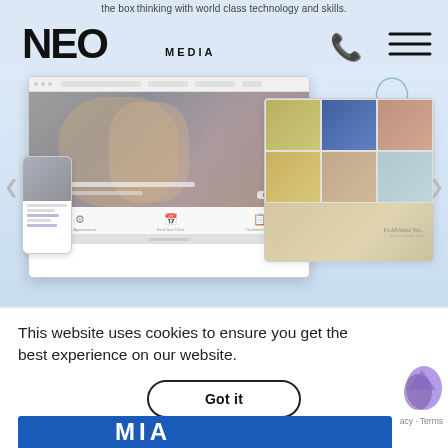the box thinking with world class technology and skills.
[Figure (logo): NEO MEDIA logo with phone icon and hamburger menu icon]
[Figure (screenshot): Website mockup showing desktop and mobile screens with dental/beauty website designs including sdc group branding]
This website uses cookies to ensure you get the best experience on our website.
[Figure (other): Got it button for cookie consent]
acy - Terms
[Figure (logo): Blue logo at bottom (partially visible)]